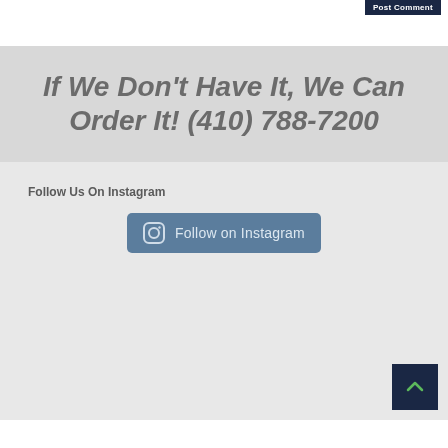If We Don't Have It, We Can Order It! (410) 788-7200
Follow Us On Instagram
[Figure (other): Follow on Instagram button with Instagram icon]
[Figure (other): Back to top button with upward chevron arrow]